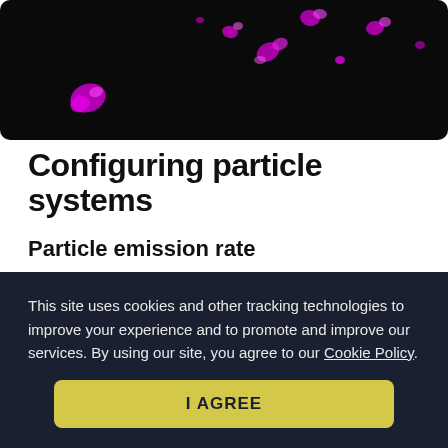[Figure (photo): Dark background with magenta/pink glowing particle shapes scattered across the image, showing a particle system effect.]
Configuring particle systems
Particle emission rate
emissionRate controls how many particles are emitted per second, which changes the density of particles in the system.
Specifying a rate of ... and instant emit ...
This site uses cookies and other tracking technologies to improve your experience and to promote and improve our services. By using our site, you agree to our Cookie Policy.
I AGREE